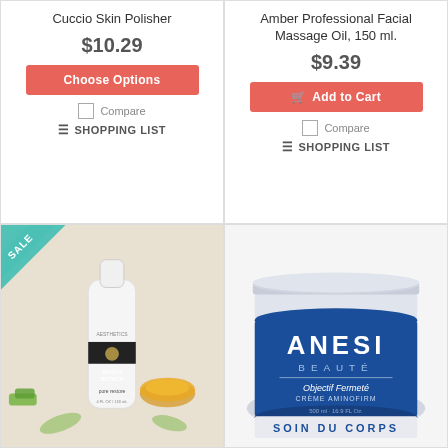Cuccio Skin Polisher
$10.29
Choose Options
Compare
SHOPPING LIST
Amber Professional Facial Massage Oil, 150 ml.
$9.39
Add to Cart
Compare
SHOPPING LIST
[Figure (photo): Bottle of pore restore serum product with honey bowl and aloe on a natural background, with a SALE banner in the top-left corner]
[Figure (photo): ANESI BEAUTE Objectif Fermeté Crème Aminofirm jar, 500ml / 16.9 FL Oz, Soin Du Corps]